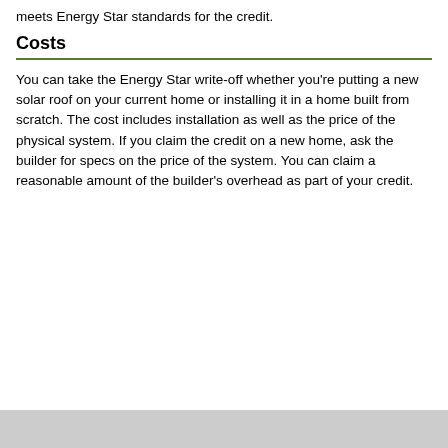meets Energy Star standards for the credit.
Costs
You can take the Energy Star write-off whether you're putting a new solar roof on your current home or installing it in a home built from scratch. The cost includes installation as well as the price of the physical system. If you claim the credit on a new home, ask the builder for specs on the price of the system. You can claim a reasonable amount of the builder's overhead as part of your credit.